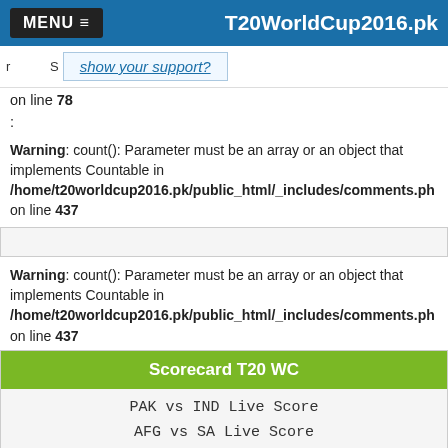MENU ≡   T20WorldCup2016.pk
show your support?
on line 78
:
Warning: count(): Parameter must be an array or an object that implements Countable in /home/t20worldcup2016.pk/public_html/_includes/comments.ph on line 437
Warning: count(): Parameter must be an array or an object that implements Countable in /home/t20worldcup2016.pk/public_html/_includes/comments.ph on line 437
Scorecard T20 WC
PAK vs IND Live Score
AFG vs SA Live Score
[Figure (screenshot): Social share icons: Facebook, Twitter, Google+, LinkedIn, Pinterest, Digg, and a share icon, with a 0 count below Google+]